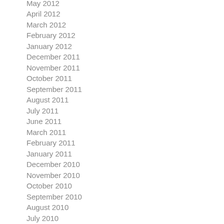May 2012
April 2012
March 2012
February 2012
January 2012
December 2011
November 2011
October 2011
September 2011
August 2011
July 2011
June 2011
March 2011
February 2011
January 2011
December 2010
November 2010
October 2010
September 2010
August 2010
July 2010
June 2010
May 2010
April 2010
March 2010
February 2010
January 2010
December 2009
November 2009
October 2009